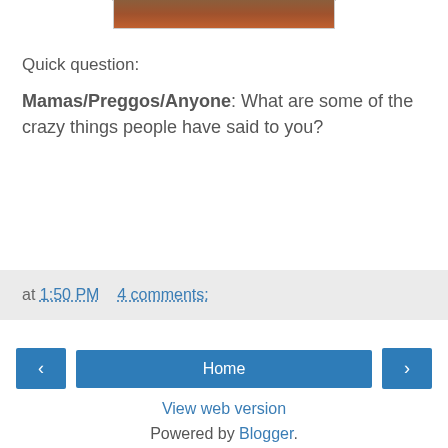[Figure (photo): Partial photo strip visible at top of page, showing people in warm-toned colors (brown/orange hues)]
Quick question:
Mamas/Preggos/Anyone: What are some of the crazy things people have said to you?
at 1:50 PM   4 comments:
‹   Home   ›
View web version
Powered by Blogger.